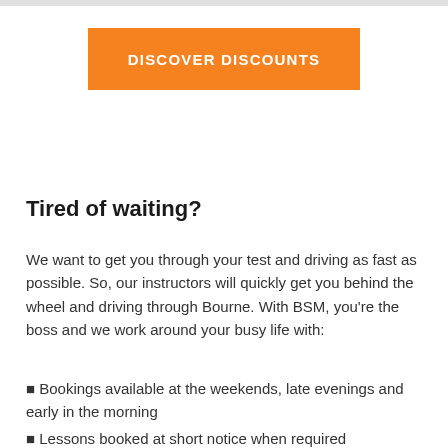[Figure (other): Orange button with white uppercase text reading DISCOVER DISCOUNTS]
Tired of waiting?
We want to get you through your test and driving as fast as possible. So, our instructors will quickly get you behind the wheel and driving through Bourne. With BSM, you're the boss and we work around your busy life with:
Bookings available at the weekends, late evenings and early in the morning
Lessons booked at short notice when required